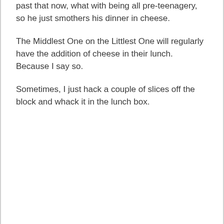past that now, what with being all pre-teenagery, so he just smothers his dinner in cheese.
The Middlest One on the Littlest One will regularly have the addition of cheese in their lunch. Because I say so.
Sometimes, I just hack a couple of slices off the block and whack it in the lunch box.